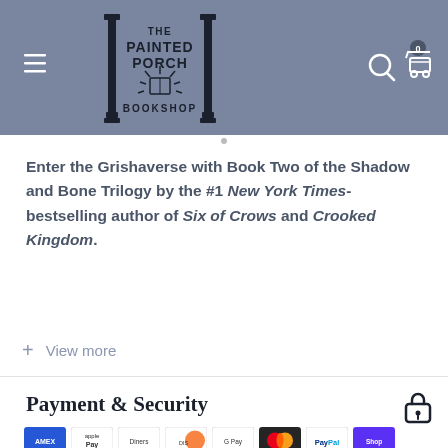[Figure (logo): The Painted Porch Bookshop logo with two columns, a sun/book illustration, and bookshop text]
Enter the Grishaverse with Book Two of the Shadow and Bone Trilogy by the #1 New York Times-bestselling author of Six of Crows and Crooked Kingdom.
+ View more
Payment & Security